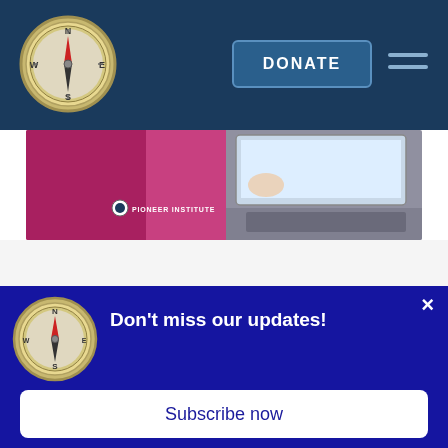Pioneer Institute website header with compass logo, DONATE button, and hamburger menu
[Figure (photo): Article thumbnail image showing Pioneer Institute branding on left with pink/magenta background and laptop keyboard on right]
JANUARY 11, 2022
Virtual Learning Grows During COVID
Virtual learning in K-12 education continues to grow due to the health threat caused by
[Figure (infographic): Dark blue popup modal with Pioneer Institute compass logo, heading 'Don't miss our updates!' and a close X button]
Don't miss our updates!
Subscribe now